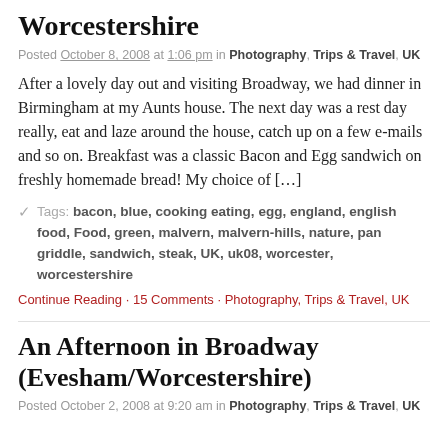Worcestershire
Posted October 8, 2008 at 1:06 pm in Photography, Trips & Travel, UK
After a lovely day out and visiting Broadway, we had dinner in Birmingham at my Aunts house. The next day was a rest day really, eat and laze around the house, catch up on a few e-mails and so on. Breakfast was a classic Bacon and Egg sandwich on freshly homemade bread! My choice of […]
Tags: bacon, blue, cooking eating, egg, england, english food, Food, green, malvern, malvern-hills, nature, pan griddle, sandwich, steak, UK, uk08, worcester, worcestershire
Continue Reading · 15 Comments · Photography, Trips & Travel, UK
An Afternoon in Broadway (Evesham/Worcestershire)
Posted October 2, 2008 at 9:20 am in Photography, Trips & Travel, UK